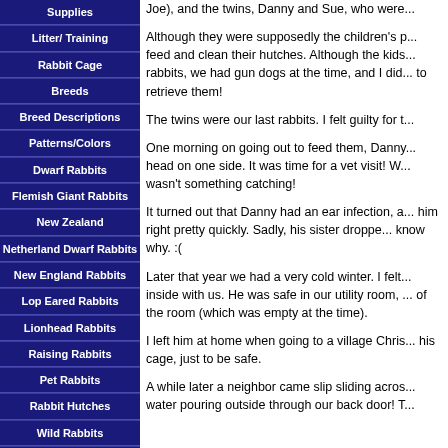Supplies
Litter/ Training
Rabbit Cage
Breeds
Breed Descriptions
Patterns/Colors
Dwarf Rabbits
Flemish Giant Rabbits
New Zealand
Netherland Dwarf Rabbits
New England Rabbits
Lop Eared Rabbits
Lionhead Rabbits
Raising Rabbits
Pet Rabbits
Rabbit Hutches
Wild Rabbits
Bedding
Baby Rabbits
Joe), and the twins, Danny and Sue, who were...
Although they were supposedly the children's p... feed and clean their hutches. Although the kids... rabbits, we had gun dogs at the time, and I did... to retrieve them!
The twins were our last rabbits. I felt guilty for t...
One morning on going out to feed them, Danny... head on one side. It was time for a vet visit! W... wasn't something catching!
It turned out that Danny had an ear infection, a... him right pretty quickly. Sadly, his sister droppe... know why. :(
Later that year we had a very cold winter. I felt... inside with us. He was safe in our utility room, ... of the room (which was empty at the time).
I left him at home when going to a village Chris... his cage, just to be safe.
A while later a neighbor came slip sliding acros... water pouring outside through our back door! T...